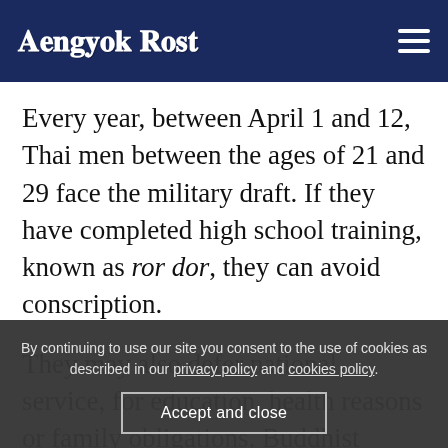Bangkok Post
Every year, between April 1 and 12, Thai men between the ages of 21 and 29 face the military draft. If they have completed high school training, known as ror dor, they can avoid conscription.
They may also defer national service, for education, health reasons or family obligations. Buddhist monks, the disabled and transgenders with legal
By continuing to use our site you consent to the use of cookies as described in our privacy policy and cookies policy.
Accept and close